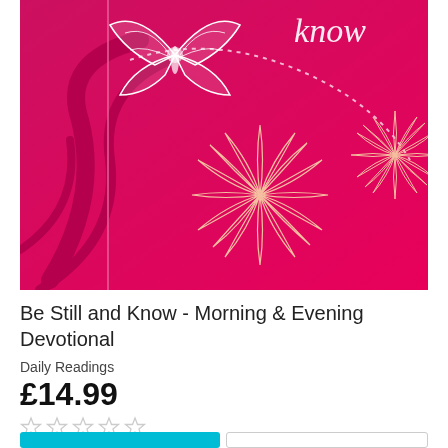[Figure (photo): Book cover of 'Be Still and Know - Morning & Evening Devotional' with a bright pink/magenta background featuring a white butterfly, floral patterns, and the text 'Know' in white script at the top.]
Be Still and Know - Morning & Evening Devotional
Daily Readings
£14.99
☆☆☆☆☆